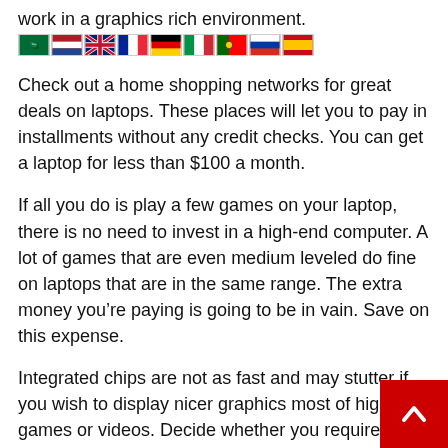work in a graphics rich environment.
[Figure (illustration): Row of country flag icons: Saudi Arabia, Netherlands, United Kingdom, France, Germany, Italy, Portugal, Russia, Spain]
Check out a home shopping networks for great deals on laptops. These places will let you to pay in installments without any credit checks. You can get a laptop for less than $100 a month.
If all you do is play a few games on your laptop, there is no need to invest in a high-end computer. A lot of games that are even medium leveled do fine on laptops that are in the same range. The extra money you’re paying is going to be in vain. Save on this expense.
Integrated chips are not as fast and may stutter if you wish to display nicer graphics most of high-end games or videos. Decide whether you require a quad core chip or a dual-core processor.
When you purchase a laptop online, do not pay extra productivity software or word processing. You will be charged full price for this. Instead, get the software from